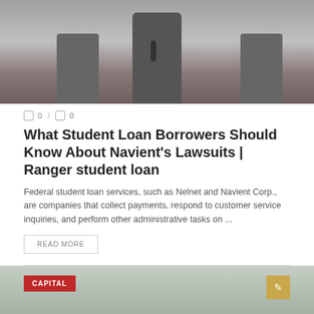[Figure (photo): Men in suits at a podium with a microphone, appearing to be at a formal hearing or press conference.]
0 / 0
What Student Loan Borrowers Should Know About Navient’s Lawsuits | Ranger student loan
Federal student loan services, such as Nelnet and Navient Corp., are companies that collect payments, respond to customer service inquiries, and perform other administrative tasks on ...
READ MORE
[Figure (photo): Partial view of a second article image with a 'CAPITAL' red badge overlay in the lower portion of the page.]